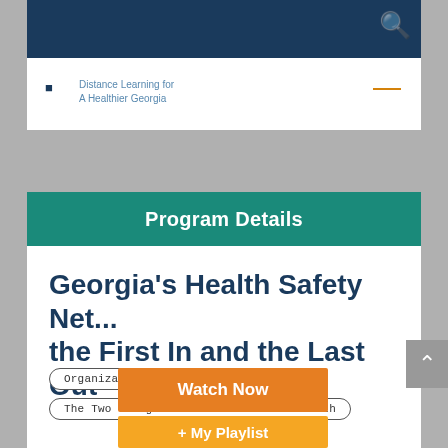Distance Learning for A Healthier Georgia
Program Details
Georgia's Health Safety Net... the First In and the Last Out
Organizational Capacity
The Two Georgias Initiative/Rural Health
Watch Now
+ My Playlist